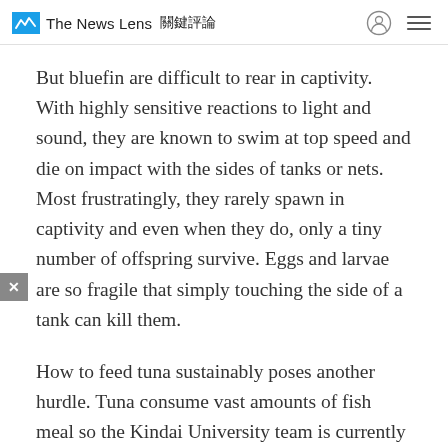The News Lens 關鍵評論
But bluefin are difficult to rear in captivity. With highly sensitive reactions to light and sound, they are known to swim at top speed and die on impact with the sides of tanks or nets. Most frustratingly, they rarely spawn in captivity and even when they do, only a tiny number of offspring survive. Eggs and larvae are so fragile that simply touching the side of a tank can kill them.
How to feed tuna sustainably poses another hurdle. Tuna consume vast amounts of fish meal so the Kindai University team is currently looking at alternatives, such as plant protein, that won't entail harvesting wild fish.
Powered by GliaStudio